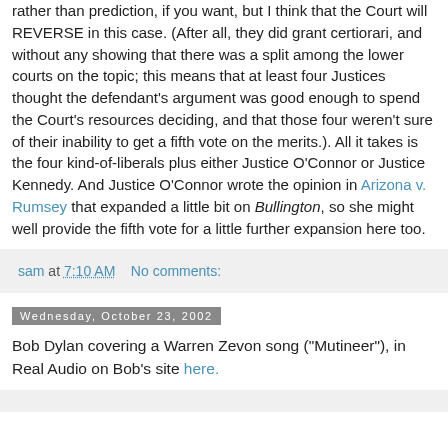rather than prediction, if you want, but I think that the Court will REVERSE in this case. (After all, they did grant certiorari, and without any showing that there was a split among the lower courts on the topic; this means that at least four Justices thought the defendant's argument was good enough to spend the Court's resources deciding, and that those four weren't sure of their inability to get a fifth vote on the merits.). All it takes is the four kind-of-liberals plus either Justice O'Connor or Justice Kennedy. And Justice O'Connor wrote the opinion in Arizona v. Rumsey that expanded a little bit on Bullington, so she might well provide the fifth vote for a little further expansion here too.
sam at 7:10 AM   No comments:
Wednesday, October 23, 2002
Bob Dylan covering a Warren Zevon song ("Mutineer"), in Real Audio on Bob's site here.